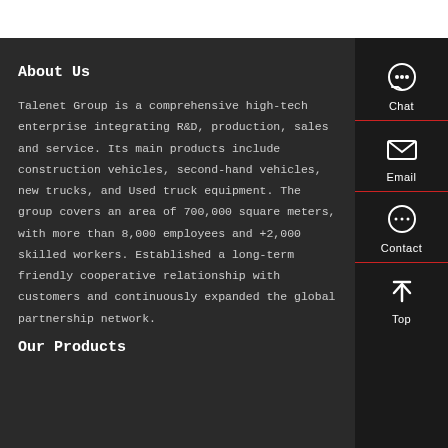About Us
Talenet Group is a comprehensive high-tech enterprise integrating R&D, production, sales and service. Its main products include construction vehicles, second-hand vehicles, new trucks, and Used truck equipment. The group covers an area of 700,000 square meters, with more than 8,000 employees and +2,000 skilled workers. Established a long-term friendly cooperative relationship with customers and continuously expanded the global partnership network.
Our Products
[Figure (infographic): Sidebar with Chat, Email, Contact, and Top navigation icons on dark background]
[Figure (other): Top white navigation/header bar]